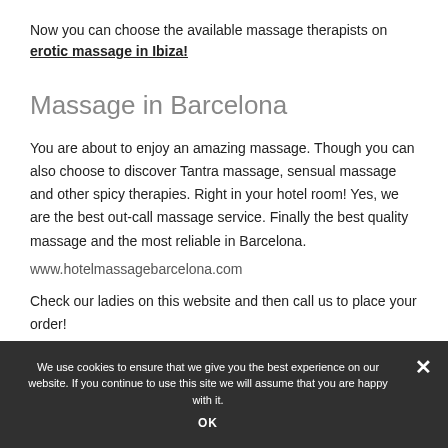Now you can choose the available massage therapists on erotic massage in Ibiza!
Massage in Barcelona
You are about to enjoy an amazing massage. Though you can also choose to discover Tantra massage, sensual massage and other spicy therapies. Right in your hotel room! Yes, we are the best out-call massage service. Finally the best quality massage and the most reliable in Barcelona.
www.hotelmassagebarcelona.com
Check our ladies on this website and then call us to place your order!
We use cookies to ensure that we give you the best experience on our website. If you continue to use this site we will assume that you are happy with it. OK